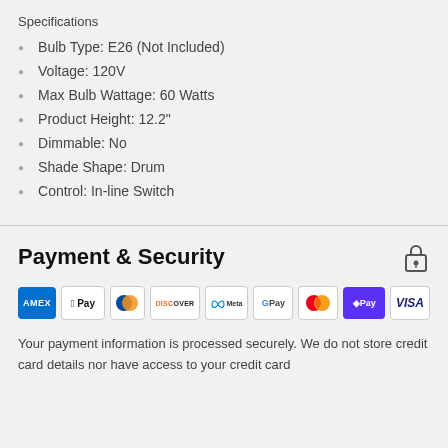Specifications
Bulb Type: E26 (Not Included)
Voltage: 120V
Max Bulb Wattage: 60 Watts
Product Height: 12.2"
Dimmable: No
Shade Shape: Drum
Control: In-line Switch
Payment & Security
[Figure (logo): Payment method icons: American Express, Apple Pay, Diners Club, Discover, Meta Pay, Google Pay, Mastercard, Shop Pay, Visa]
Your payment information is processed securely. We do not store credit card details nor have access to your credit card